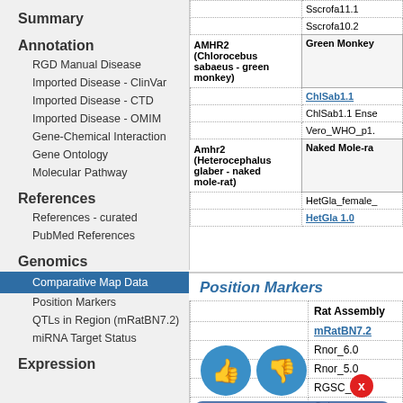Summary
Annotation
RGD Manual Disease
Imported Disease - ClinVar
Imported Disease - CTD
Imported Disease - OMIM
Gene-Chemical Interaction
Gene Ontology
Molecular Pathway
References
References - curated
PubMed References
Genomics
Comparative Map Data
Position Markers
QTLs in Region (mRatBN7.2)
miRNA Target Status
Expression
| Species/Gene | Assembly |
| --- | --- |
|  | Sscrofa11.1 |
|  | Sscrofa10.2 |
| AMHR2 (Chlorocebus sabaeus - green monkey) | Green Monkey |
|  | ChlSab1.1 |
|  | ChlSab1.1 Ense... |
|  | Vero_WHO_p1... |
| Amhr2 (Heterocephalus glaber - naked mole-rat) | Naked Mole-ra... |
|  | HetGla_female_... |
|  | HetGla 1.0 |
Position Markers
| Rat Assembly |
| --- |
| mRatBN7.2 |
| Rnor_6.0 |
| Rnor_5.0 |
| RGSC_v3.4 |
| Celera |
| RH 3.4 Map |
| Cytogenetic Map |